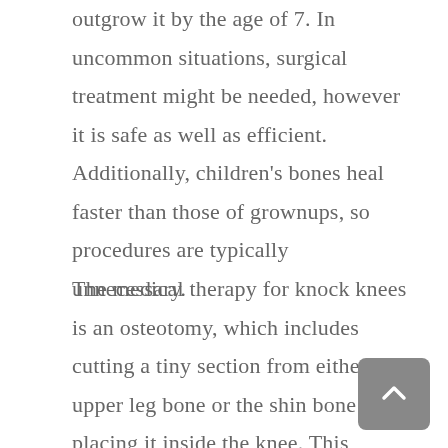outgrow it by the age of 7. In uncommon situations, surgical treatment might be needed, however it is safe as well as efficient. Additionally, children's bones heal faster than those of grownups, so procedures are typically unnecessary.
The medical therapy for knock knees is an osteotomy, which includes cutting a tiny section from either the upper leg bone or the shin bone and placing it inside the knee. This surgical procedure can improve a youngster's ability to walk and also may even recover some feature to the knee. Commonly, kids have the ability to go back to typical task two years after surgical